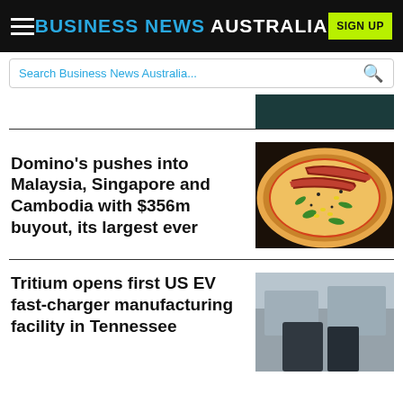BUSINESS NEWS AUSTRALIA
Search Business News Australia...
Domino's pushes into Malaysia, Singapore and Cambodia with $356m buyout, its largest ever
[Figure (photo): Photo of a pizza with toppings including bacon, green peppers, and cheese on a dark pan]
Tritium opens first US EV fast-charger manufacturing facility in Tennessee